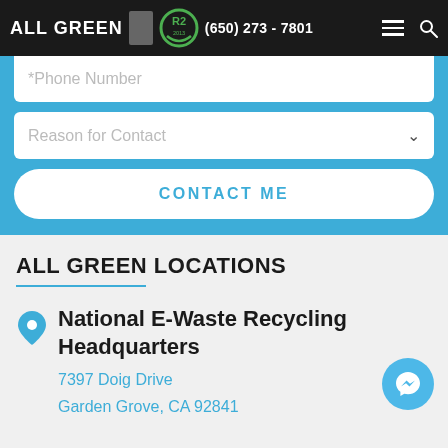ALL GREEN | (650) 273 - 7801
*Phone Number
Reason for Contact
CONTACT ME
ALL GREEN LOCATIONS
National E-Waste Recycling Headquarters
7397 Doig Drive
Garden Grove, CA 92841